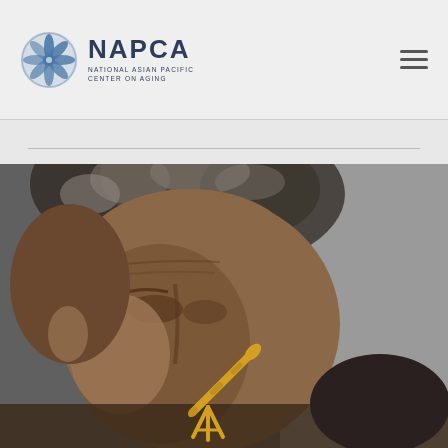[Figure (logo): NAPCA - National Asian Pacific Center on Aging logo with blue spiral/pinwheel icon and text]
[Figure (photo): Close-up photograph of an elderly person with gray curly hair, head bowed, with a golden telescope icon overlaid in the lower center area]